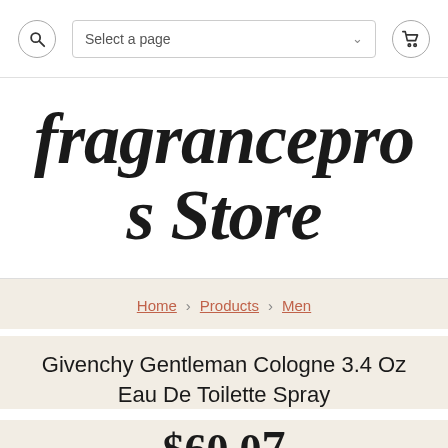fragrancepros Store
Home > Products > Men
Givenchy Gentleman Cologne 3.4 Oz Eau De Toilette Spray
$60.07